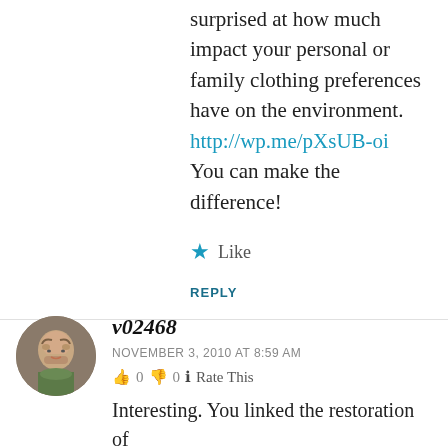surprised at how much impact your personal or family clothing preferences have on the environment. http://wp.me/pXsUB-oi You can make the difference!
Like
REPLY
v02468
NOVEMBER 3, 2010 AT 8:59 AM
👍 0 👎 0 ℹ Rate This
Interesting. You linked the restoration of